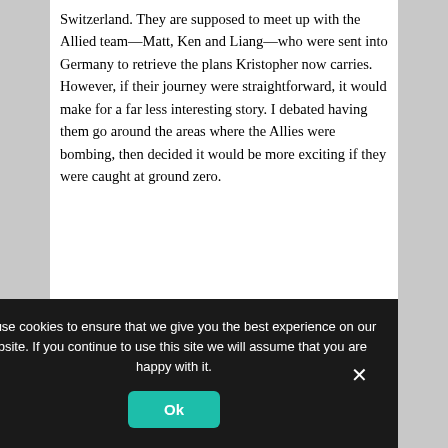Switzerland. They are supposed to meet up with the Allied team—Matt, Ken and Liang—who were sent into Germany to retrieve the plans Kristopher now carries. However, if their journey were straightforward, it would make for a far less interesting story. I debated having them go around the areas where the Allies were bombing, then decided it would be more exciting if they were caught at ground zero.
Meanwhile Matt and his team leave Berlin and take an alternate route to Switzerland.  Neither group can ignore a downed RAF aircraft in the Black Forest, and so decide to look for the pilot.  Naturally they each run into problems of
We use cookies to ensure that we give you the best experience on our website. If you continue to use this site we will assume that you are happy with it.